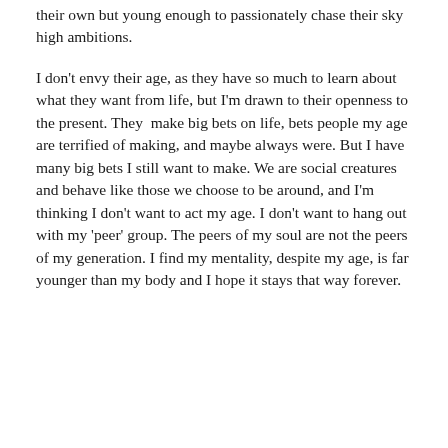their own but young enough to passionately chase their sky high ambitions.
I don't envy their age, as they have so much to learn about what they want from life, but I'm drawn to their openness to the present. They  make big bets on life, bets people my age are terrified of making, and maybe always were. But I have many big bets I still want to make. We are social creatures and behave like those we choose to be around, and I'm thinking I don't want to act my age. I don't want to hang out with my 'peer' group. The peers of my soul are not the peers of my generation. I find my mentality, despite my age, is far younger than my body and I hope it stays that way forever.